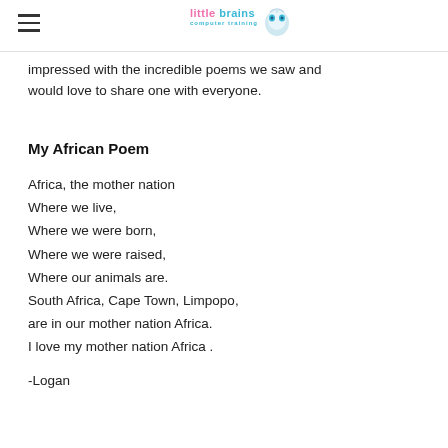little brains computer training
impressed with the incredible poems we saw and would love to share one with everyone.
My African Poem
Africa, the mother nation
Where we live,
Where we were born,
Where we were raised,
Where our animals are.
South Africa, Cape Town, Limpopo,
are in our mother nation Africa.
I love my mother nation Africa .
-Logan